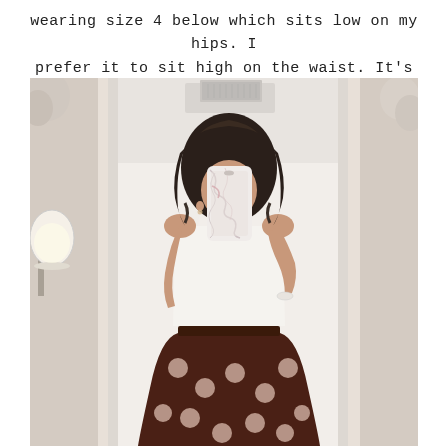wearing size 4 below which sits low on my hips. I prefer it to sit high on the waist. It's adorable.
[Figure (photo): Mirror selfie of a woman in a dressing room wearing a white tank top and a dark brown polka dot skirt. She is holding a smartphone with a marble case in front of her face. The room has white walls and a lamp visible on the left.]